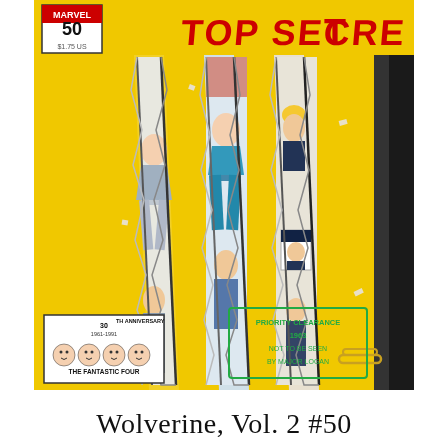[Figure (illustration): Comic book cover of Wolverine Vol. 2 #50. Yellow background with three large diagonal claw slash marks revealing torn paper imagery beneath. Top reads 'TOP SECRET' in red letters. Bottom left shows a 30th Anniversary (1961-1991) Fantastic Four badge. Bottom right has a green stamp reading 'PRIORITY CLEARANCE 1963 NOT TO BE SEEN BY MAJOR LOGAN'. A paper clip is visible on the right edge.]
Wolverine, Vol. 2 #50